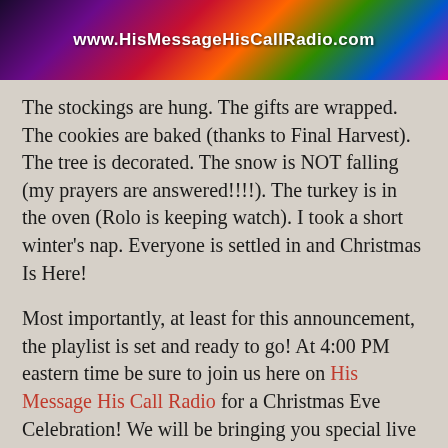[Figure (photo): Colorful festive banner with dark multicolored bokeh background and white bold text reading www.HisMessageHisCallRadio.com]
The stockings are hung. The gifts are wrapped. The cookies are baked (thanks to Final Harvest). The tree is decorated. The snow is NOT falling (my prayers are answered!!!!). The turkey is in the oven (Rolo is keeping watch). I took a short winter's nap. Everyone is settled in and Christmas Is Here!
Most importantly, at least for this announcement, the playlist is set and ready to go! At 4:00 PM eastern time be sure to join us here on His Message His Call Radio for a Christmas Eve Celebration! We will be bringing you special live programming starting around 4:00 pm eastern time and going until well after 1:00 AM eastern time and you can consider this your invitation to join us for some or